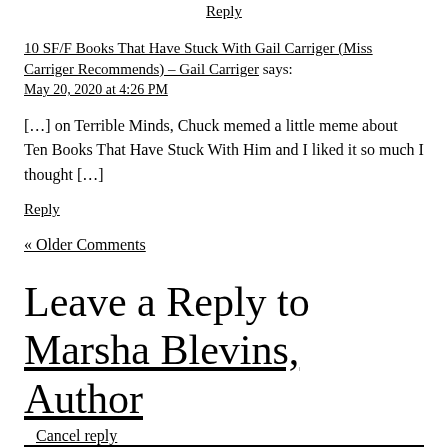Reply
10 SF/F Books That Have Stuck With Gail Carriger (Miss Carriger Recommends) – Gail Carriger says:
May 20, 2020 at 4:26 PM
[…] on Terrible Minds, Chuck memed a little meme about Ten Books That Have Stuck With Him and I liked it so much I thought […]
Reply
« Older Comments
Leave a Reply to Marsha Blevins, Author   Cancel reply
Enter your comment here...